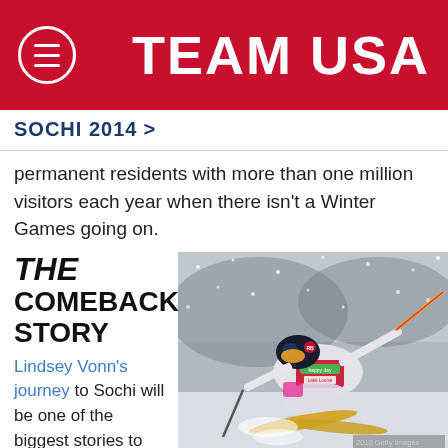TEAM USA
SOCHI 2014 >
permanent residents with more than one million visitors each year when there isn't a Winter Games going on.
THE COMEBACK STORY
Lindsey Vonn's journey to Sochi will be one of the biggest stories to follow leading up to
[Figure (photo): A skier in a pink and white racing suit with Red Bull helmet racing downhill in snowy conditions, holding poles. A race bib with 'happy day' and 'Lake Louise' text is visible. Getty Images watermark at bottom right.]